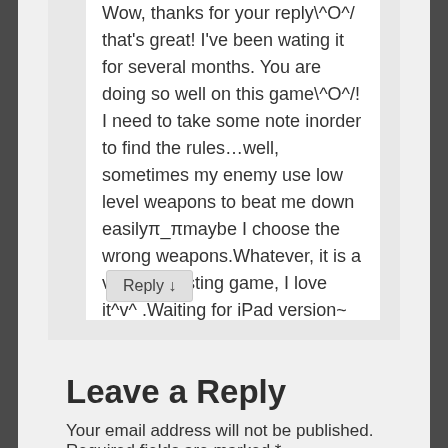Wow, thanks for your reply\^O^/ that's great! I've been wating it for several months. You are doing so well on this game\^O^/! I need to take some note inorder to find the rules…well, sometimes my enemy use low level weapons to beat me down easilyπ_πmaybe I choose the wrong weapons.Whatever, it is a very interesting game, I love it^v^ .Waiting for iPad version~
Reply ↓
Leave a Reply
Your email address will not be published. Required fields are marked *